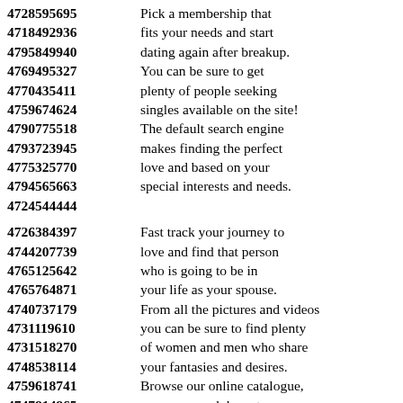4728595695 Pick a membership that
4718492936 fits your needs and start
4795849940 dating again after breakup.
4769495327 You can be sure to get
4770435411 plenty of people seeking
4759674624 singles available on the site!
4790775518 The default search engine
4793723945 makes finding the perfect
4775325770 love and based on your
4794565663 special interests and needs.
4724544444
4726384397 Fast track your journey to
4744207739 love and find that person
4765125642 who is going to be in
4765764871 your life as your spouse.
4740737179 From all the pictures and videos
4731119610 you can be sure to find plenty
4731518270 of women and men who share
4748538114 your fantasies and desires.
4759618741 Browse our online catalogue,
4747814865 you can search by category
4778661860 to create an even closer
4730470200 connection with the beauties.
4748583692 Signing up is the first step in
4739896645 finding your next relationship